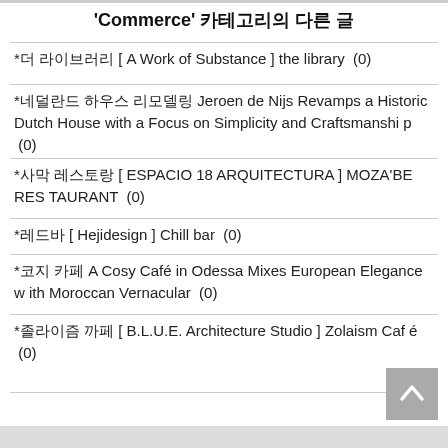'Commerce' 카테고리의 다른 글
*더 라이브러리 [ A Work of Substance ] the library  (0)
*네덜란드 하우스 리모델링 Jeroen de Nijs Revamps a Historic Dutch House with a Focus on Simplicity and Craftsmanship  (0)
*사막 레스토랑 [ ESPACIO 18 ARQUITECTURA ] MOZA'BE RESTAURANT  (0)
*레드바 [ Hejidesign ] Chill bar  (0)
*코지 카페 A Cosy Café in Odessa Mixes European Elegance with Moroccan Vernacular  (0)
*졸라이즘 까페 [ B.L.U.E. Architecture Studio ] Zolaism Café  (0)